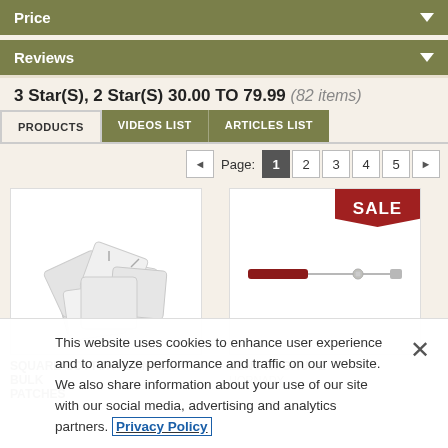Price
Reviews
3 Star(S), 2 Star(S) 30.00 TO 79.99  (82 items)
PRODUCTS   VIDEOS LIST   ARTICLES LIST
Page: 1 2 3 4 5
[Figure (photo): Square cotton flannel bulk patches, white fabric pieces piled together]
SQUARE COTTON FLANNEL BULK PATCHES
[Figure (photo): Length gauge tool, a thin rod with measurement markings, with SALE badge]
LENGTH GAUGE
HORNADY
This website uses cookies to enhance user experience and to analyze performance and traffic on our website. We also share information about your use of our site with our social media, advertising and analytics partners. Privacy Policy